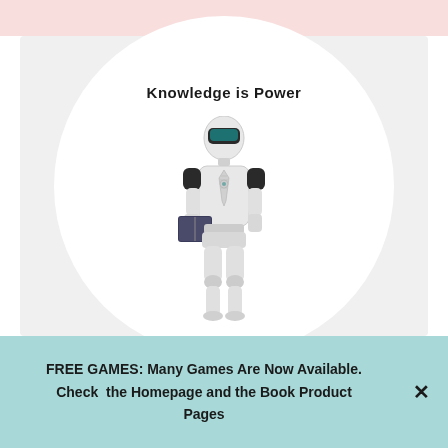[Figure (illustration): White humanoid robot wearing a tie and holding a book, standing inside a white circle on a light gray card background. Text 'Knowledge is Power' appears above the robot in bold.]
FREE GAMES: Many Games Are Now Available. Check the Homepage and the Book Product Pages